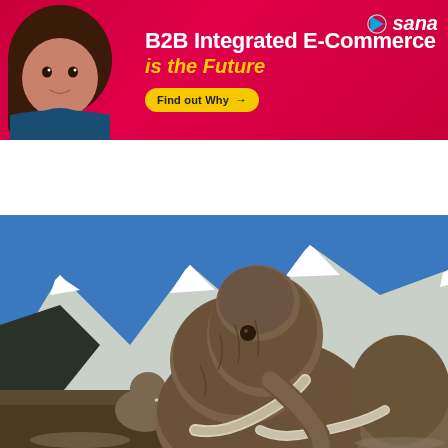[Figure (infographic): Sana Commerce advertisement banner with red/magenta gradient background. A woman is shown on the left side. Text reads 'B2B Integrated E-Commerce is the Future'. Sana logo in top right. Yellow 'Find out Why →' button.]
[Figure (other): UI element: white tab/panel with upward caret (^) chevron icon, indicating a collapsible section below the ad banner.]
[Figure (photo): Photograph of woolly mammoths in a snowy mountain landscape. A large mammoth with curved tusks is prominent in the foreground against a blue sky with snow-capped mountains in the background. Additional mammoths visible behind.]